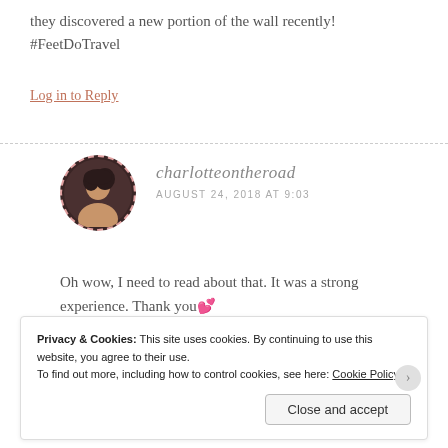they discovered a new portion of the wall recently! #FeetDoTravel
Log in to Reply
charlotteontheroad
AUGUST 24, 2018 AT 9:03
Oh wow, I need to read about that. It was a strong experience. Thank you💕
Privacy & Cookies: This site uses cookies. By continuing to use this website, you agree to their use.
To find out more, including how to control cookies, see here: Cookie Policy
Close and accept